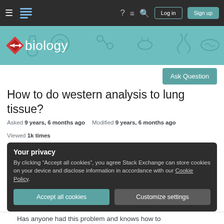Navigation bar with hamburger menu, Stack Exchange logo, help, feedback, search icons, Log in and Sign up buttons
[Figure (logo): Biology Stack Exchange banner with teal background and biology-themed decorative icons. Red lightning bolt arrow with 'biology' text in white.]
Ask Question
How to do western analysis to lung tissue?
Asked 9 years, 6 months ago   Modified 9 years, 6 months ago   Viewed 1k times
Your privacy
By clicking "Accept all cookies", you agree Stack Exchange can store cookies on your device and disclose information in accordance with our Cookie Policy.
Accept all cookies   Customize settings
Has anyone had this problem and knows how to